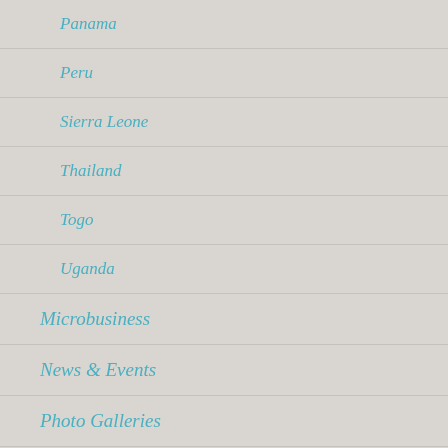Panama
Peru
Sierra Leone
Thailand
Togo
Uganda
Microbusiness
News & Events
Photo Galleries
Project Updates
Savings Groups
Survival Skills